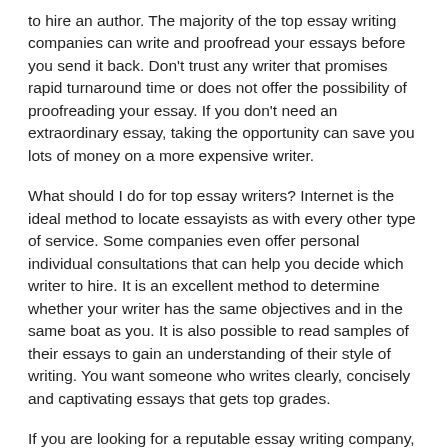to hire an author. The majority of the top essay writing companies can write and proofread your essays before you send it back. Don't trust any writer that promises rapid turnaround time or does not offer the possibility of proofreading your essay. If you don't need an extraordinary essay, taking the opportunity can save you lots of money on a more expensive writer.
What should I do for top essay writers? Internet is the ideal method to locate essayists as with every other type of service. Some companies even offer personal individual consultations that can help you decide which writer to hire. It is an excellent method to determine whether your writer has the same objectives and in the same boat as you. It is also possible to read samples of their essays to gain an understanding of their style of writing. You want someone who writes clearly, concisely and captivating essays that gets top grades.
If you are looking for a reputable essay writing company, ask what they offer in terms of services. What additional services are offered besides writing research papers. Most top essay writing services include additional editing, proofreading as well as revisions, to help students achieve their academic objectives. Review all the services provided and determine if those services can meet your requirements.
Look for all essay writing companies that also offer...